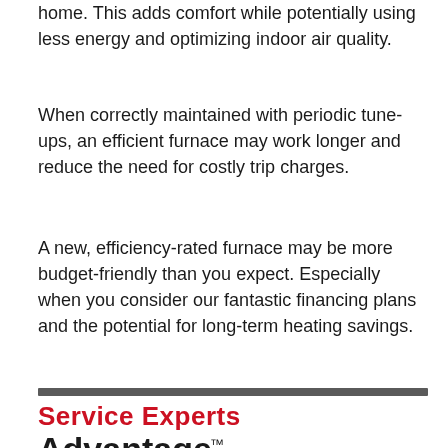home. This adds comfort while potentially using less energy and optimizing indoor air quality.
When correctly maintained with periodic tune-ups, an efficient furnace may work longer and reduce the need for costly trip charges.
A new, efficiency-rated furnace may be more budget-friendly than you expect. Especially when you consider our fantastic financing plans and the potential for long-term heating savings.
[Figure (logo): Service Experts Advantage logo with red 'Service Experts' text and black 'Advantage' text with trademark symbol]
Service Experts Advantage™